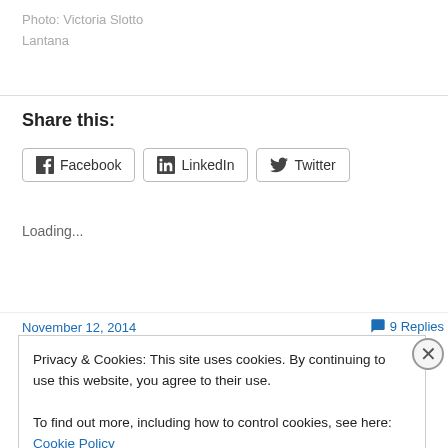Photo: Victoria Slotto
Lantana
Share this:
Facebook  LinkedIn  Twitter
Loading...
November 12, 2014   9 Replies
Privacy & Cookies: This site uses cookies. By continuing to use this website, you agree to their use.
To find out more, including how to control cookies, see here: Cookie Policy
Close and accept